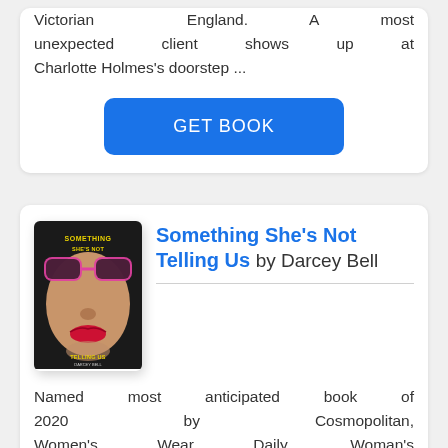Victorian England. A most unexpected client shows up at Charlotte Holmes's doorstep ...
GET BOOK
[Figure (illustration): Book cover of 'Something She's Not Telling Us' by Darcey Bell — a close-up of a face with pink sunglasses and red lips on a dark background with yellow title text]
Something She's Not Telling Us by Darcey Bell
Named most anticipated book of 2020 by Cosmopolitan, Women's Wear Daily, Woman's Day, She Reads, The Nerd Daily, and Sassy Sarah Reads. From the New York Times bestselling author of A Simple